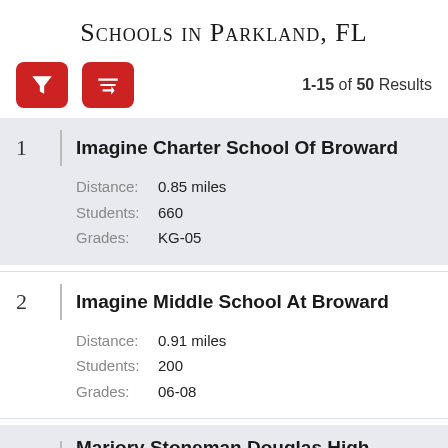Schools in Parkland, FL
1-15 of 50 Results
1 Imagine Charter School Of Broward
Distance: 0.85 miles
Students: 660
Grades: KG-05
2 Imagine Middle School At Broward
Distance: 0.91 miles
Students: 200
Grades: 06-08
3 Marjory Stoneman Douglas High School
Distance: 1.09 miles